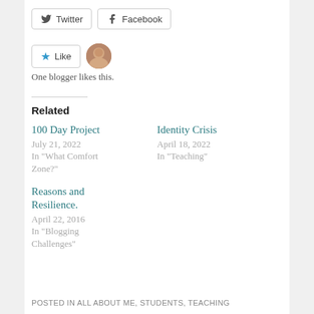Twitter
Facebook
Like  One blogger likes this.
Related
100 Day Project
July 21, 2022
In "What Comfort Zone?"
Identity Crisis
April 18, 2022
In "Teaching"
Reasons and Resilience.
April 22, 2016
In "Blogging Challenges"
POSTED IN ALL ABOUT ME, STUDENTS, TEACHING